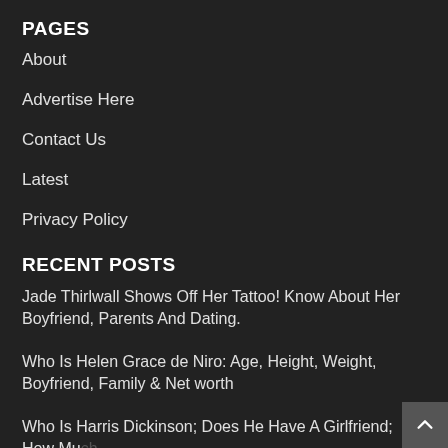PAGES
About
Advertise Here
Contact Us
Latest
Privacy Policy
RECENT POSTS
Jade Thirlwall Shows Off Her Tattoo! Know About Her Boyfriend, Parents And Dating.
Who Is Helen Grace de Niro: Age, Height, Weight, Boyfriend, Family & Net worth
Who Is Harris Dickinson; Does He Have A Girlfriend; How Much Money He Earns?